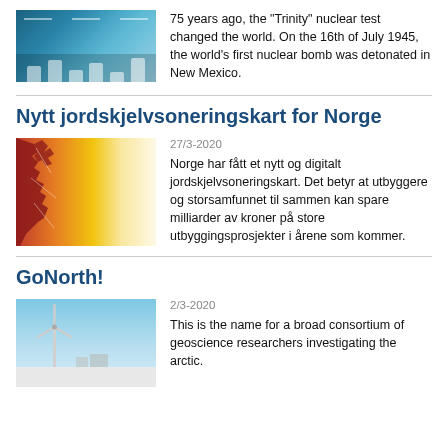[Figure (photo): Thumbnail image with blue tones and data visualization bars, related to nuclear test article]
75 years ago, the “Trinity” nuclear test changed the world. On the 16th of July 1945, the world’s first nuclear bomb was detonated in New Mexico.
Nytt jordskjelvsoneringskart for Norge
[Figure (photo): Seismic zoning map of Norway showing heat-map gradient from red on the left (Norwegian coastline silhouette) to yellow on the right]
27/3-2020
Norge har fått et nytt og digitalt jordskjelvsoneringskart. Det betyr at utbyggere og storsamfunnet til sammen kan spare milliarder av kroner på store utbyggingsprosjekter i årene som kommer.
GoNorth!
[Figure (photo): Photo of a wind turbine in an arctic snowy landscape with blue sky]
2/3-2020
This is the name for a broad consortium of geoscience researchers investigating the arctic.